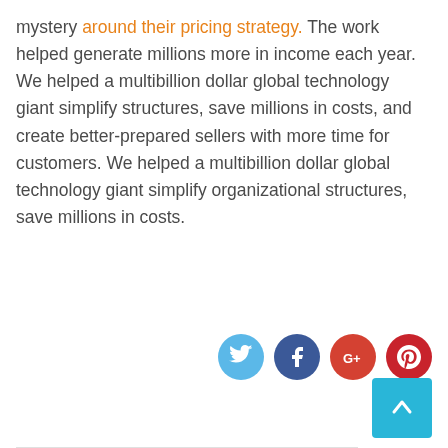mystery around their pricing strategy. The work helped generate millions more in income each year. We helped a multibillion dollar global technology giant simplify structures, save millions in costs, and create better-prepared sellers with more time for customers. We helped a multibillion dollar global technology giant simplify organizational structures, save millions in costs.
[Figure (infographic): Social media share icons: Twitter (light blue circle), Facebook (dark blue circle), Google+ (red-orange circle), Pinterest (red circle)]
[Figure (infographic): Scroll-to-top button: teal/cyan square with upward arrow]